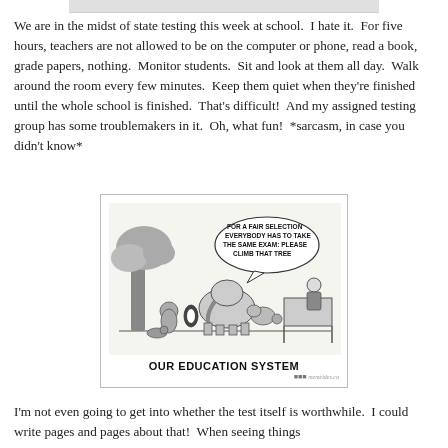We are in the midst of state testing this week at school.  I hate it.  For five hours, teachers are not allowed to be on the computer or phone, read a book, grade papers, nothing.  Monitor students.  Sit and look at them all day.  Walk around the room every few minutes.  Keep them quiet when they're finished until the whole school is finished.  That's difficult!  And my assigned testing group has some troublemakers in it.  Oh, what fun!  *sarcasm, in case you didn't know*
[Figure (illustration): Cartoon showing a man at a desk telling various animals (elephant, monkey, penguin, dog, bird, fish) that for a fair selection everybody has to take the same exam: please climb that tree. Caption reads OUR EDUCATION SYSTEM.]
OUR EDUCATION SYSTEM
I'm not even going to get into whether the test itself is worthwhile.  I could write pages and pages about that!  When seeing things